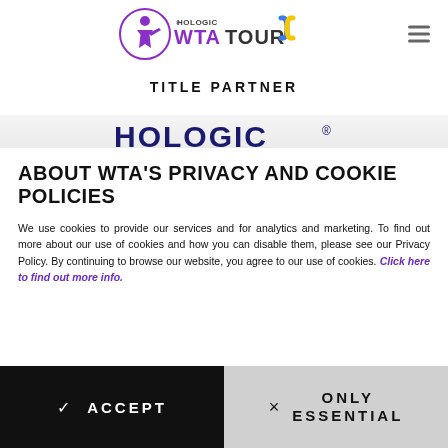[Figure (logo): Hologic WTA Tour logo with Ukrainian ribbon (yellow and blue)]
TITLE PARTNER
[Figure (logo): HOLOGIC® wordmark in dark navy bold letters on light grey band]
ABOUT WTA'S PRIVACY AND COOKIE POLICIES
We use cookies to provide our services and for analytics and marketing. To find out more about our use of cookies and how you can disable them, please see our Privacy Policy. By continuing to browse our website, you agree to our use of cookies. Click here to find out more info.
✓ ACCEPT
× ONLY ESSENTIAL